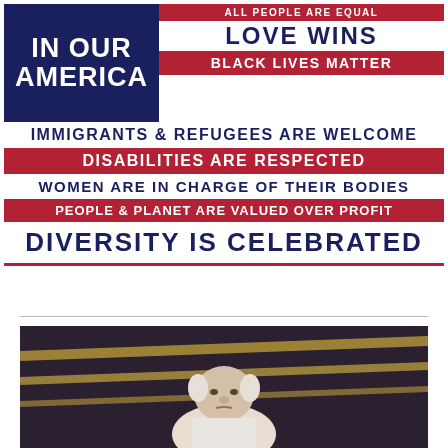[Figure (infographic): In Our America poster with American flag colors (red, white, navy). Left side shows 'IN OUR AMERICA' on dark navy background. Right side lists progressive political statements in alternating red and white bands.]
[Figure (photo): Photo of a heavyset older man with white/gray hair standing in front of what appears to be a dark background with gold/yellow stripes.]